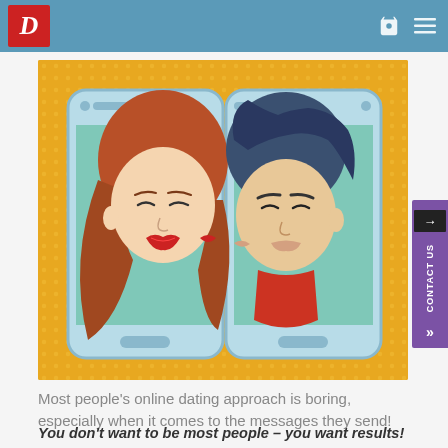D (logo) | header navigation
[Figure (illustration): Pop-art style illustration of a man and woman kissing through two smartphones, on a yellow/orange dotted background]
Most people’s online dating approach is boring, especially when it comes to the messages they send!
You don’t want to be most people – you want results!